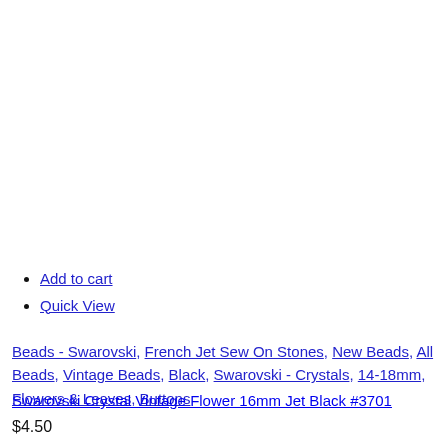Add to cart
Quick View
Beads - Swarovski, French Jet Sew On Stones, New Beads, All Beads, Vintage Beads, Black, Swarovski - Crystals, 14-18mm, Flowers & Leaves, Buttons
Swarovski Crystal Vintage Flower 16mm Jet Black #3701
$4.50